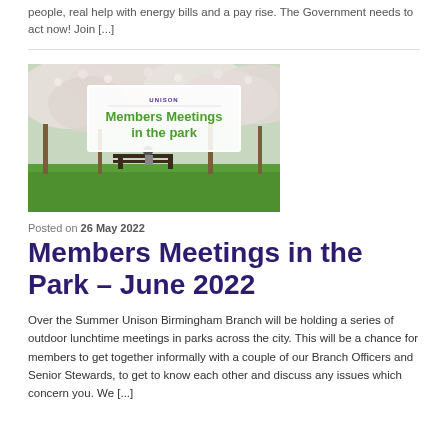people, real help with energy bills and a pay rise. The Government needs to act now! Join [...]
[Figure (photo): Photo of a park with cherry blossom trees and a person sitting on a bench. Overlaid white box with UNISON logo and green text reading 'Members Meetings in the park']
Posted on 26 May 2022
Members Meetings in the Park – June 2022
Over the Summer Unison Birmingham Branch will be holding a series of outdoor lunchtime meetings in parks across the city. This will be a chance for members to get together informally with a couple of our Branch Officers and Senior Stewards, to get to know each other and discuss any issues which concern you. We [...]